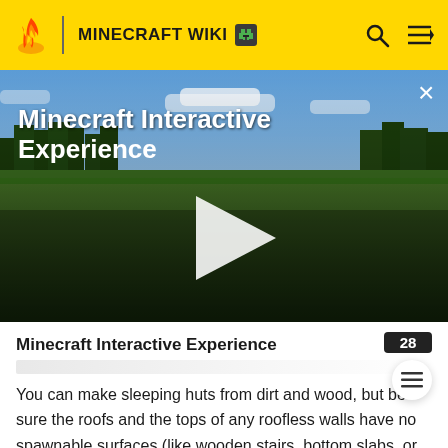MINECRAFT WIKI
[Figure (screenshot): Minecraft Interactive Experience video thumbnail showing a grassy landscape with trees, sky with clouds, and a white play button in the center. Title 'Minecraft Interactive Experience' overlaid in white text top-left. Close X button top-right.]
Minecraft Interactive Experience
You can make sleeping huts from dirt and wood, but be sure the roofs and the tops of any roofless walls have no spawnable surfaces (like wooden stairs, bottom slabs, or